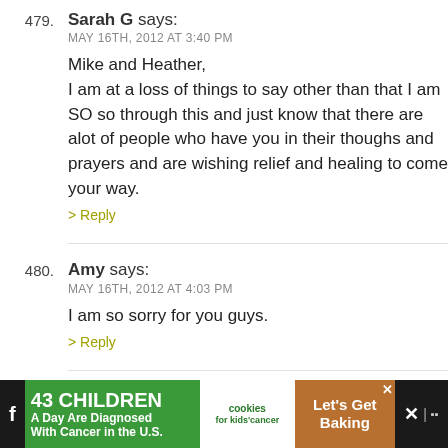479. Sarah G says: MAY 16TH, 2012 AT 3:40 PM
Mike and Heather,
I am at a loss of things to say other than that I am SO so through this and just know that there are alot of people who have you in their thoughs and prayers and are wishing relief and healing to come your way.
> Reply
480. Amy says: MAY 16TH, 2012 AT 4:03 PM
I am so sorry for you guys.
> Reply
481. Tracy says: MAY 16TH, 2012 AT 4:04 PM
I'm so sorry. You're in my prayers.
> Reply
[Figure (infographic): Advertisement banner: '43 CHILDREN A Day Are Diagnosed With Cancer in the U.S.' with cookies for kids cancer logo and 'Let's Get Baking' call to action on brown background.]